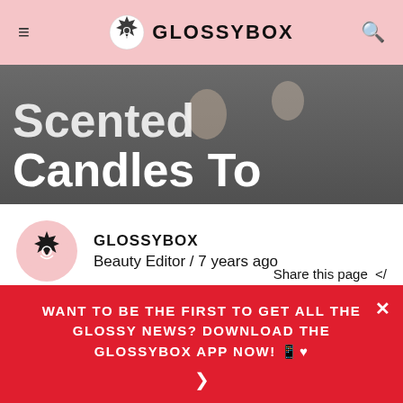GLOSSYBOX
[Figure (photo): Hero image of scented candles on a grey surface with overlaid white title text reading 'Scented Candles To...']
Scented Candles To
GLOSSYBOX
Beauty Editor / 7 years ago
Share this page
Whether you're more of a heady floral fan or tend to opt for spicy scents, there is something about the warming glow and comforting aroma of scented candles that make the cold, dark
WANT TO BE THE FIRST TO GET ALL THE GLOSSY NEWS? DOWNLOAD THE GLOSSYBOX APP NOW! ❤